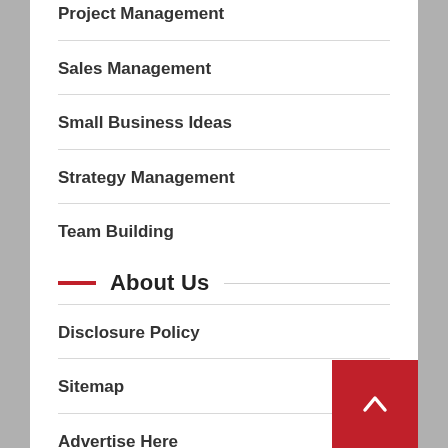Project Management
Sales Management
Small Business Ideas
Strategy Management
Team Building
About Us
Disclosure Policy
Sitemap
Advertise Here
Contact Us